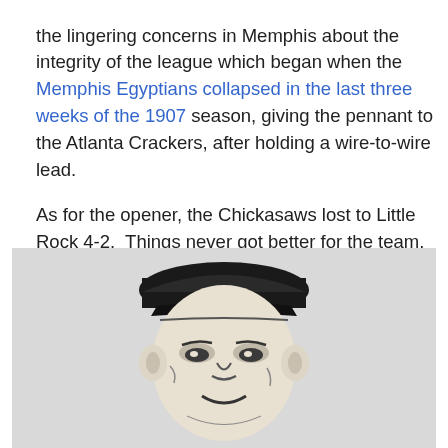the lingering concerns in Memphis about the integrity of the league which began when the Memphis Egyptians collapsed in the last three weeks of the 1907 season, giving the pennant to the Atlanta Crackers, after holding a wire-to-wire lead.

As for the opener, the Chickasaws lost to Little Rock 4-2. Things never got better for the team, which finished fifth with a 66-79 record.
[Figure (illustration): Black and white illustration of a baseball player's face wearing a cap with the letter M on it, drawn in a sketch/engraving style.]